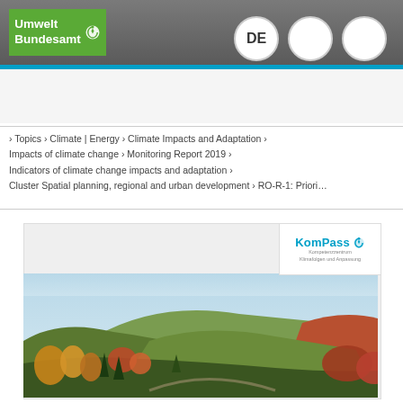Umwelt Bundesamt
› Topics › Climate | Energy › Climate Impacts and Adaptation › Impacts of climate change › Monitoring Report 2019 › Indicators of climate change impacts and adaptation › Cluster Spatial planning, regional and urban development › RO-R-1: Priori…
[Figure (photo): Landscape photograph showing autumn hills with colorful trees (orange, red, yellow foliage) under a pale blue sky, with a KomPass (Kompetenzzentrum Klimafolgen und Anpassung) logo overlay in the top right corner.]